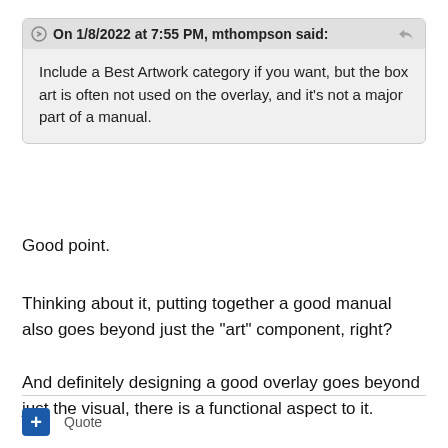On 1/8/2022 at 7:55 PM, mthompson said: Include a Best Artwork category if you want, but the box art is often not used on the overlay, and it's not a major part of a manual.
Good point.
Thinking about it, putting together a good manual also goes beyond just the "art" component, right?
And definitely designing a good overlay goes beyond just the visual, there is a functional aspect to it.